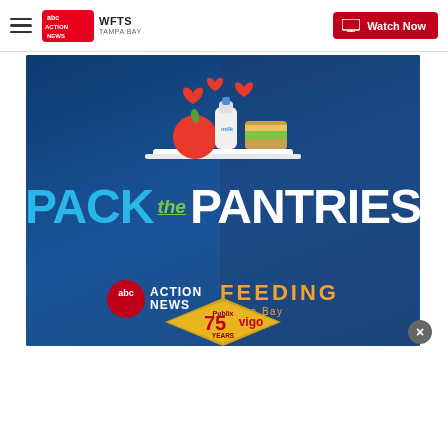WFTS Tampa Bay ABC Action News — Watch Now
[Figure (illustration): Pack the Pantries promotional image. A blue-tinted background with food items (apple, bottle, sandwich) and hearts above, text 'PACK the PANTRIES' in large letters (PACK in blue, the in green, PANTRIES in white). Below: ABC Action News logo and Feeding Tampa Bay logo side by side, and a golden diamond badge reading 'Publix 75 Years vigo'.]